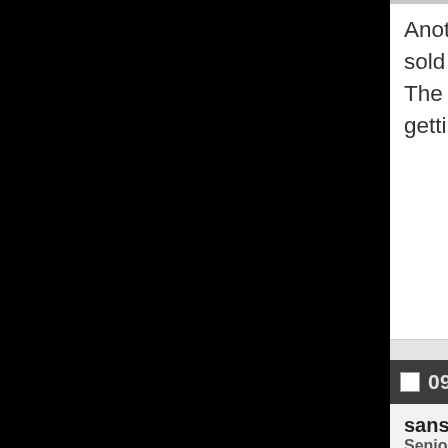Another great read. Junot's one of my sold me. Right now I'm finishing up Be The Picture, a look at the life and musi getting Mr Fox soon...
09-17-2017,   01:35 PM
sansradio
Senior Member
Originally Posted by splanky
Another great read. Junot's one of my gr sold me. Right now I'm finishing up Ben The Picture, a look at the life and music soon...
Oh, man! I'm dying to read that Greenm think.